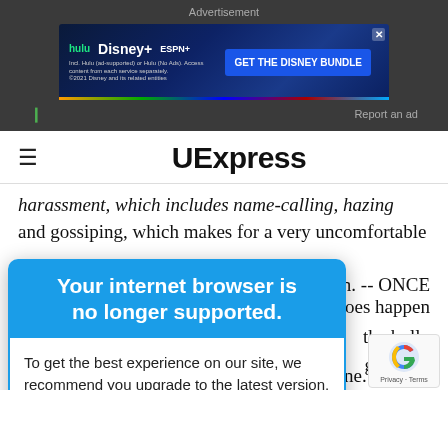Advertisement
[Figure (screenshot): Disney Bundle advertisement banner showing Hulu, Disney+, and ESPN+ logos with a blue 'GET THE DISNEY BUNDLE' call-to-action button. Fine print reads: Incl. Hulu (ad-supported) or Hulu (No Ads). Access content from each service separately. ©2021 Disney and its related entities]
Report an ad
≡ UExpress
harassment, which includes name-calling, hazing and gossiping, which makes for a very uncomfortable
ten. -- ONCE
[Figure (screenshot): Browser warning modal overlay with blue header reading 'Your internet browser is no longer supported.' and white body reading 'To get the best experience on our site, we recommend you upgrade to the latest version.']
does happen
the bully
g the inc
including the dates, times and what was done. Take